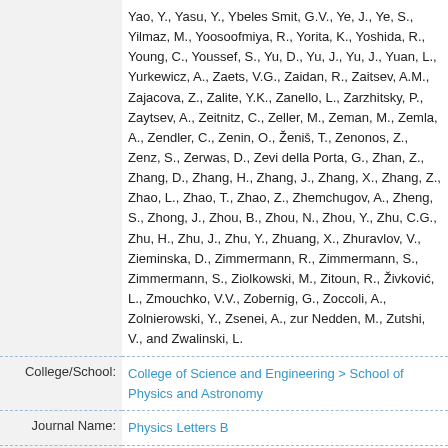Yao, Y., Yasu, Y., Ybeles Smit, G.V., Ye, J., Ye, S., Yilmaz, M., Yoosoofmiya, R., Yorita, K., Yoshida, R., Young, C., Youssef, S., Yu, D., Yu, J., Yu, J., Yuan, L., Yurkewicz, A., Zaets, V.G., Zaidan, R., Zaitsev, A.M., Zajacova, Z., Zalite, Y.K., Zanello, L., Zarzhitsky, P., Zaytsev, A., Zeitnitz, C., Zeller, M., Zeman, M., Zemla, A., Zendler, C., Zenin, O., Ženiš, T., Zenonos, Z., Zenz, S., Zerwas, D., Zevi della Porta, G., Zhan, Z., Zhang, D., Zhang, H., Zhang, J., Zhang, X., Zhang, Z., Zhao, L., Zhao, T., Zhao, Z., Zhemchugov, A., Zheng, S., Zhong, J., Zhou, B., Zhou, N., Zhou, Y., Zhu, C.G., Zhu, H., Zhu, J., Zhu, Y., Zhuang, X., Zhuravlov, V., Zieminska, D., Zimmermann, R., Zimmermann, S., Zimmermann, S., Ziolkowski, M., Zitoun, R., Živković, L., Zmouchko, V.V., Zobernig, G., Zoccoli, A., Zolnierowski, Y., Zsenei, A., zur Nedden, M., Zutshi, V., and Zwalinski, L.
| Field | Value |
| --- | --- |
| College/School: | College of Science and Engineering > School of Physics and Astronomy |
| Journal Name: | Physics Letters B |
| ISSN: | 0370-2693 |
| Published |  |